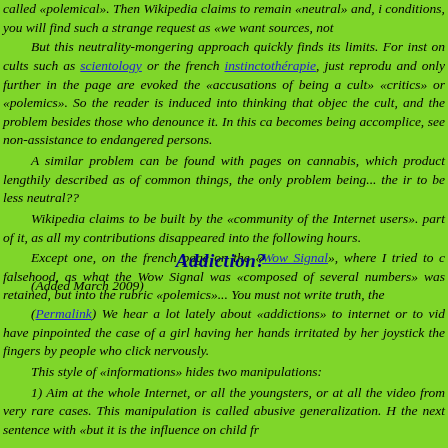called «polemical». Then Wikipedia claims to remain «neutral» and, in conditions, you will find such a strange request as «we want sources, not th But this neutrality-mongering approach quickly finds its limits. For inst on cults such as scientology or the french instinctothérapie, just reprodu and only further in the page are evoked the «accusations of being a cult» «critics» or «polemics». So the reader is induced into thinking that objec the cult, and the problem besides those who denounce it. In this ca becomes being accomplice, see non-assistance to endangered persons. A similar problem can be found with pages on cannabis, which product lengthily described as of common things, the only problem being... the ir to be less neutral?? Wikipedia claims to be built by the «community of the Internet users». part of it, as all my contributions disappeared into the following hours. Except one, on the french page on the «Wow Signal», where I tried to c falsehood, as what the Wow Signal was «composed of several numbers» was retained, but into the rubric «polemics»... You must not write truth, the
Addiction?
(Added March 2009)
(Permalink) We hear a lot lately about «addictions» to internet or to vid have pinpointed the case of a girl having her hands irritated by her joystick the fingers by people who click nervously. This style of «informations» hides two manipulations: 1) Aim at the whole Internet, or all the youngsters, or at all the video from very rare cases. This manipulation is called abusive generalization. H the next sentence with «but it is the influence on child fr